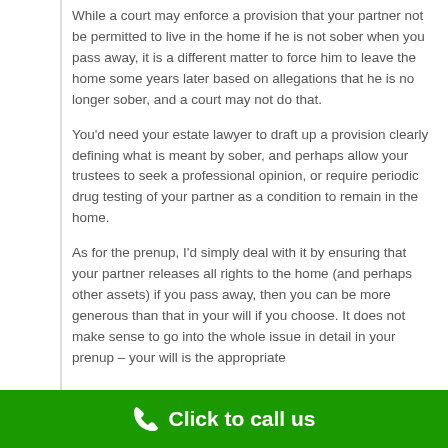While a court may enforce a provision that your partner not be permitted to live in the home if he is not sober when you pass away, it is a different matter to force him to leave the home some years later based on allegations that he is no longer sober, and a court may not do that.
You'd need your estate lawyer to draft up a provision clearly defining what is meant by sober, and perhaps allow your trustees to seek a professional opinion, or require periodic drug testing of your partner as a condition to remain in the home.
As for the prenup, I'd simply deal with it by ensuring that your partner releases all rights to the home (and perhaps other assets) if you pass away, then you can be more generous than that in your will if you choose. It does not make sense to go into the whole issue in detail in your prenup – your will is the appropriate
Click to call us